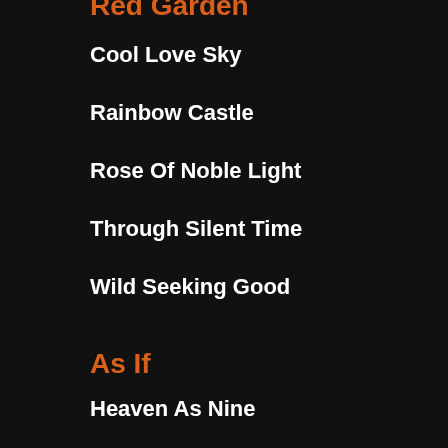Red Garden
Cool Love Sky
Rainbow Castle
Rose Of Noble Light
Through Silent Time
Wild Seeking Good
As If
Heaven As Nine
Whispering Rain
You Are... Home
Pure Cloud... Which?
Crash and Learn
Flickering Passion